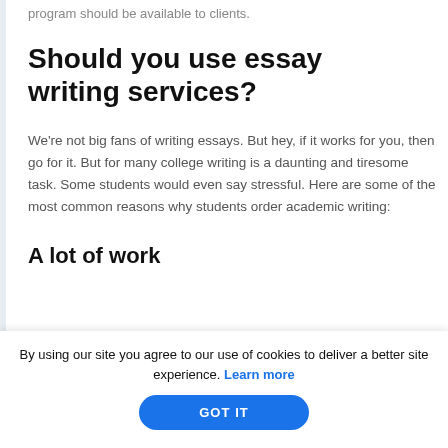program should be available to clients.
Should you use essay writing services?
We're not big fans of writing essays. But hey, if it works for you, then go for it. But for many college writing is a daunting and tiresome task. Some students would even say stressful. Here are some of the most common reasons why students order academic writing:
A lot of work
By using our site you agree to our use of cookies to deliver a better site experience. Learn more
GOT IT